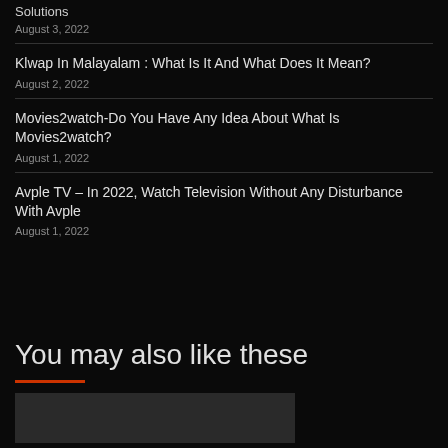Solutions
August 3, 2022
Klwap In Malayalam : What Is It And What Does It Mean?
August 2, 2022
Movies2watch-Do You Have Any Idea About What Is Movies2watch?
August 1, 2022
Avple TV – In 2022, Watch Television Without Any Disturbance With Avple
August 1, 2022
You may also like these
[Figure (photo): Partial image visible at bottom of page]